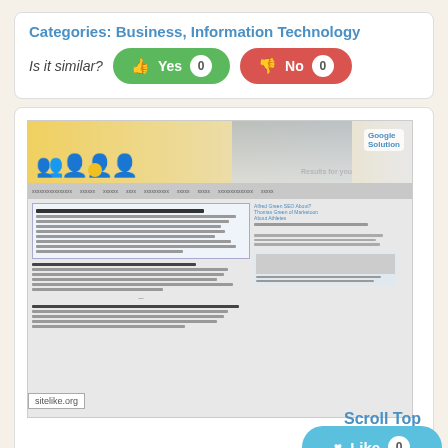Categories: Business, Information Technology
Is it similar? Yes 0  No 0
[Figure (screenshot): Screenshot of a website showing a recruitment/SEO themed page with red silhouette figures on a banner, navigation bar, and content columns with text blocks. Sitelike.org watermark visible.]
Scroll Top
Like 0
elision.design
seo